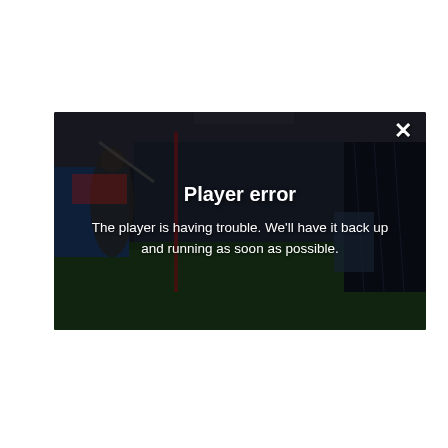[Figure (screenshot): A video player showing an indoor baseball/batting cage facility. A person is visible swinging a bat on the left side. The scene is dimly lit with green turf flooring, netting, and equipment visible in the background. A dark overlay covers the image. A white X close button appears in the top-right corner. Centered text shows a 'Player error' message overlay.]
Player error
The player is having trouble. We'll have it back up and running as soon as possible.